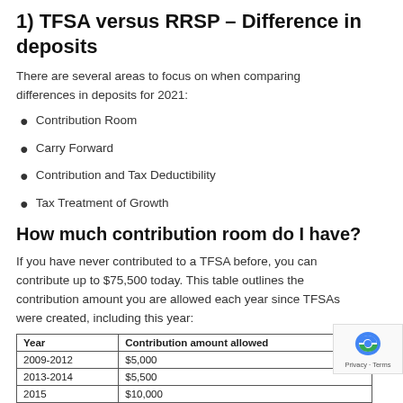1) TFSA versus RRSP – Difference in deposits
There are several areas to focus on when comparing differences in deposits for 2021:
Contribution Room
Carry Forward
Contribution and Tax Deductibility
Tax Treatment of Growth
How much contribution room do I have?
If you have never contributed to a TFSA before, you can contribute up to $75,500 today. This table outlines the contribution amount you are allowed each year since TFSAs were created, including this year:
| Year | Contribution amount allowed |
| --- | --- |
| 2009-2012 | $5,000 |
| 2013-2014 | $5,500 |
| 2015 | $10,000 |